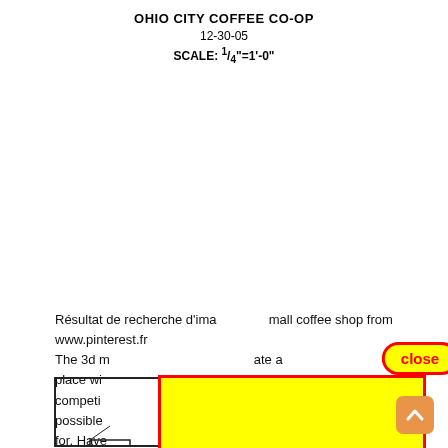OHIO CITY COFFEE CO-OP
12-30-05
SCALE: ¼"=1'-0"
Résultat de recherche d'ima… small coffee shop from www.pinterest.fr
The 3d m… ate a place wi… competiti… ng possible… g back for. Have… ideas to choos…
[Figure (schematic): Floor plan / architectural drawing of Ohio City Coffee Co-op partially obscured by a yellow overlay rectangle with red border and a close button.]